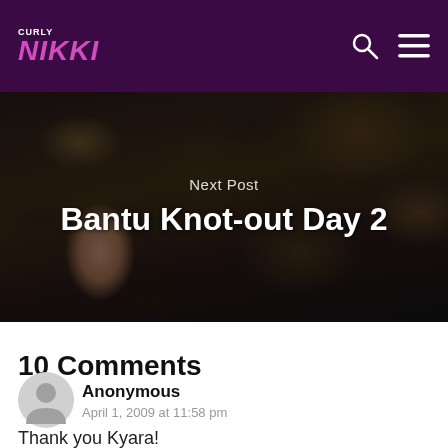Curly Nikki
[Figure (photo): Woman with curly hair, hero image for blog post 'Bantu Knot-out Day 2']
Next Post
Bantu Knot-out Day 2
10 Comments
[Figure (illustration): Anonymous user avatar icon (grey circle with person silhouette)]
Anonymous
April 1, 2009 at 11:58 pm
Thank you Kyara!